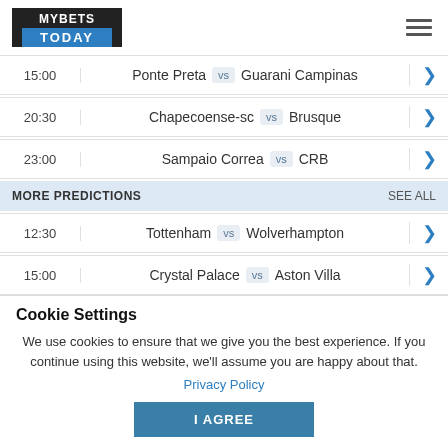[Figure (logo): MYBETS TODAY logo with dark top and blue bottom]
15:00  Ponte Preta vs Guarani Campinas
20:30  Chapecoense-sc vs Brusque
23:00  Sampaio Correa vs CRB
MORE PREDICTIONS  SEE ALL
12:30  Tottenham vs Wolverhampton
15:00  Crystal Palace vs Aston Villa
Cookie Settings
We use cookies to ensure that we give you the best experience. If you continue using this website, we'll assume you are happy about that.
Privacy Policy
I AGREE